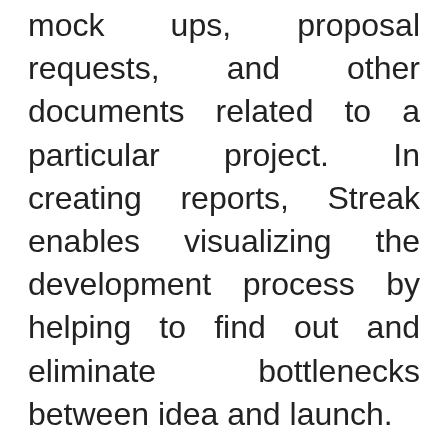mock ups, proposal requests, and other documents related to a particular project. In creating reports, Streak enables visualizing the development process by helping to find out and eliminate bottlenecks between idea and launch.
Streak offers formulas to run processes and calculate metrics automatically. It achieves this by offering their formula functionality that tracks essential metrics as well as track data points such as accuracy